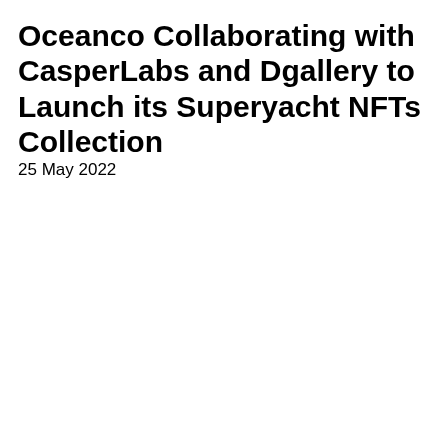Oceanco Collaborating with CasperLabs and Dgallery to Launch its Superyacht NFTs Collection
25 May 2022